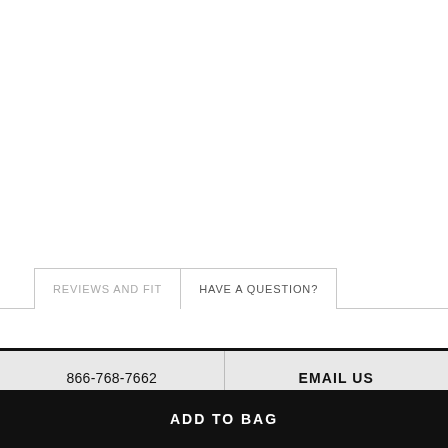REVIEWS AND FIT
HAVE A QUESTION?
866-768-7662
EMAIL US
ADD TO BAG